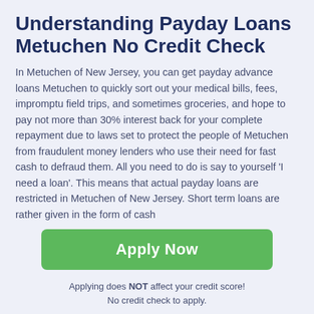Understanding Payday Loans Metuchen No Credit Check
In Metuchen of New Jersey, you can get payday advance loans Metuchen to quickly sort out your medical bills, fees, impromptu field trips, and sometimes groceries, and hope to pay not more than 30% interest back for your complete repayment due to laws set to protect the people of Metuchen from fraudulent money lenders who use their need for fast cash to defraud them. All you need to do is say to yourself 'I need a loan'. This means that actual payday loans are restricted in Metuchen of New Jersey. Short term loans are rather given in the form of cash
[Figure (other): Green 'Apply Now' button]
Applying does NOT affect your credit score! No credit check to apply.